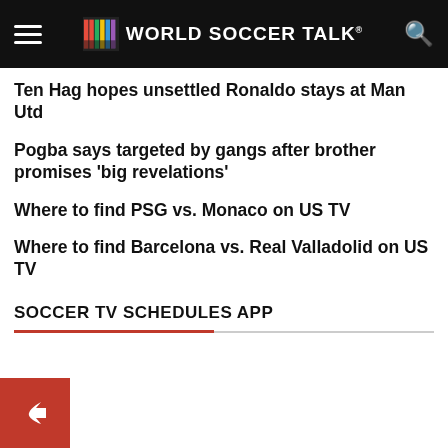WORLD SOCCER TALK
Ten Hag hopes unsettled Ronaldo stays at Man Utd
Pogba says targeted by gangs after brother promises 'big revelations'
Where to find PSG vs. Monaco on US TV
Where to find Barcelona vs. Real Valladolid on US TV
SOCCER TV SCHEDULES APP